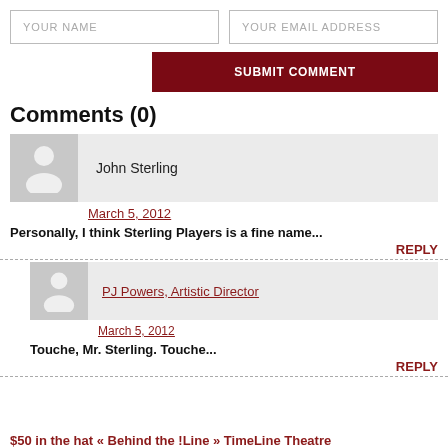YOUR NAME
YOUR EMAIL ADDRESS
SUBMIT COMMENT
Comments (0)
John Sterling
March 5, 2012
Personally, I think Sterling Players is a fine name...
REPLY
PJ Powers, Artistic Director
March 5, 2012
Touche, Mr. Sterling. Touche...
REPLY
$50 in the hat « Behind the !Line » TimeLine Theatre